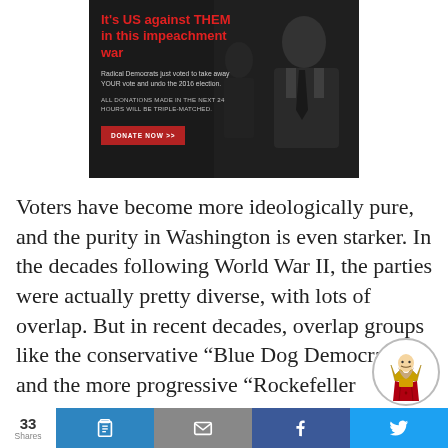[Figure (other): Political ad banner with dark background and figure silhouette. Headline in red: It's US against THEM in this impeachment war. Subtext about Radical Democrats. Triple-match donation offer. Red DONATE NOW >> button.]
Voters have become more ideologically pure, and the purity in Washington is even starker. In the decades following World War II, the parties were actually pretty diverse, with lots of overlap. But in recent decades, overlap groups like the conservative “Blue Dog Democrats” and the more progressive “Rockefeller Republicans” have gone extinct. Today,
[Figure (illustration): King of cards logo in a circular badge]
33 Shares | Share buttons: Clipboard, Email, Facebook, Twitter